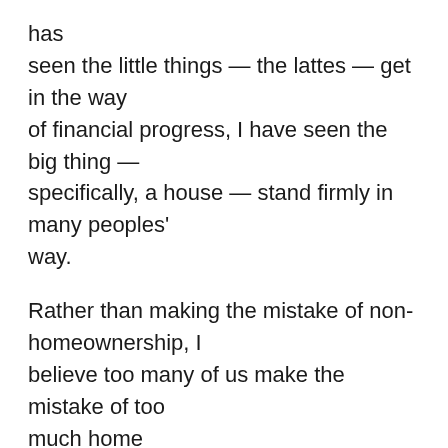has seen the little things — the lattes — get in the way of financial progress, I have seen the big thing — specifically, a house — stand firmly in many peoples' way.
Rather than making the mistake of non-homeownership, I believe too many of us make the mistake of too much home ownership. We buy homes that banks promise we can "afford," only to find that when life happens — babies or illnesses or layoffs — we can't afford them after all.
Further, instead of buying and paying off, many of us buy